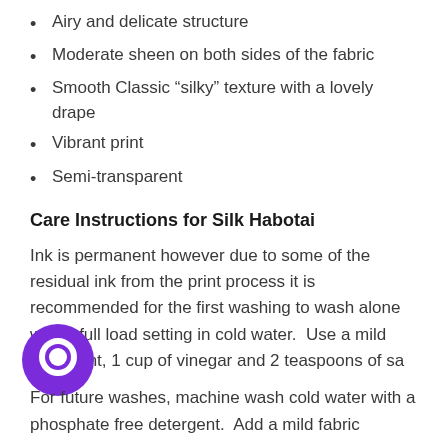Airy and delicate structure
Moderate sheen on both sides of the fabric
Smooth Classic “silky” texture with a lovely drape
Vibrant print
Semi-transparent
Care Instructions for Silk Habotai
Ink is permanent however due to some of the residual ink from the print process it is recommended for the first washing to wash alone with a full load setting in cold water.  Use a mild detergent, 1 cup of vinegar and 2 teaspoons of sa...
For future washes, machine wash cold water with a phosphate free detergent.  Add a mild fabric...